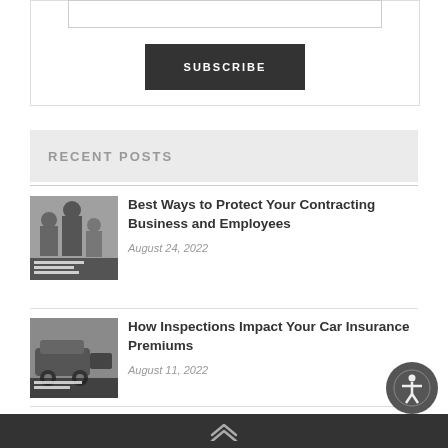[Figure (other): Subscribe input box (empty text field)]
SUBSCRIBE
RECENT POSTS
[Figure (photo): Thumbnail photo of people in a business meeting / contracting context]
Best Ways to Protect Your Contracting Business and Employees
August 24, 2022
[Figure (photo): Thumbnail photo related to car inspection / insurance]
How Inspections Impact Your Car Insurance Premiums
August 11, 2022
[Figure (photo): Thumbnail photo related to company protection]
Tips to Protect Your Company
[Figure (other): Accessibility icon button in bottom right corner]
Up arrow navigation chevron